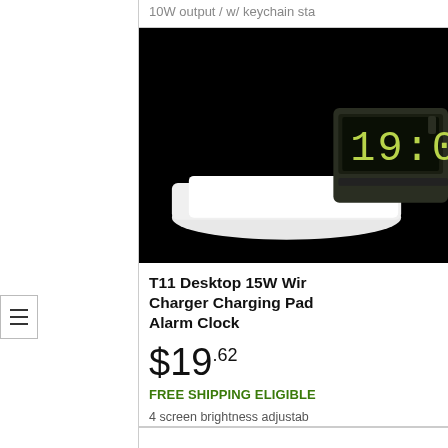10W output / w/ keychain sta
[Figure (photo): Product photo of T11 Desktop wireless charger with alarm clock showing 19:00 on green LED display, white charging pad on black background]
T11 Desktop 15W Wire Charger Charging Pad Alarm Clock
$19.62
FREE SHIPPING ELIGIBLE
4 screen brightness adjustab function / 3.4" display / 12/24 dual USB charging